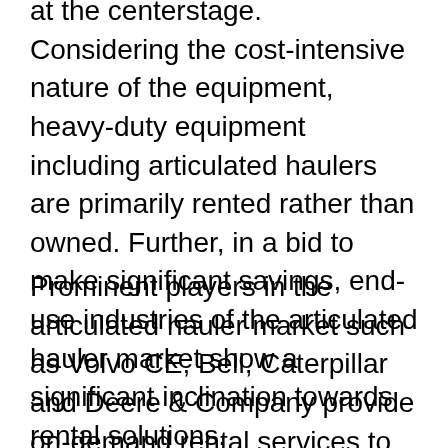at the centerstage. Considering the cost-intensive nature of the equipment, heavy-duty equipment including articulated haulers are primarily rented rather than owned. Further, in a bid to make significant savings, end-use industries of the articulated hauler market show a significant inclination towards rental solutions.
Prominent players in the articulated hauler market such as Volvo CE, Bell, Caterpillar and Deere & Company provide on-demand rental services to cater to the growing demand for temporary equipment solutions. Services such as customized rental packages with quality assurance and maintenance support are provided through dealers of these prominent articulated hauler market